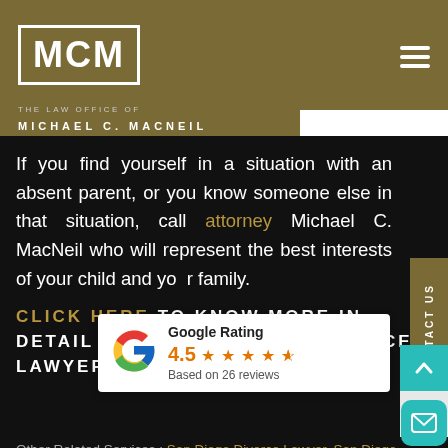[Figure (logo): MCM logo box with white border on golden-brown header background, and hamburger menu icon top right]
THE LAW OFFICE OF MICHAEL C. MACNEIL
If you find yourself in a situation with an absent parent, or you know someone else in that situation, call attorney Michael C. MacNeil who will represent the best interests of your child and your family.
CLICK HERE TO KNOW MORE IN DETAIL ABOUT SAN DIEGO DIVORCE LAWYER FREE CONSULTATION
[Figure (infographic): Google Rating popup: 4.5 stars based on 26 reviews]
Other Related Services : San Diego Divorce Lawyer, San Diego Family Court Services